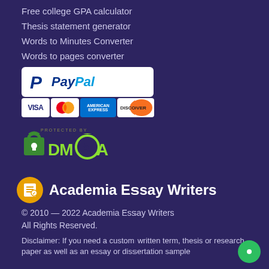Free college GPA calculator
Thesis statement generator
Words to Minutes Converter
Words to pages converter
[Figure (logo): PayPal logo in white box with VISA, Mastercard, American Express, Discover card icons below]
[Figure (logo): DMCA protected badge with green lock and circular emblem]
[Figure (logo): Academia Essay Writers logo with orange circular icon and white bold text]
© 2010 — 2022 Academia Essay Writers
All Rights Reserved.
Disclaimer: If you need a custom written term, thesis or research paper as well as an essay or dissertation sample